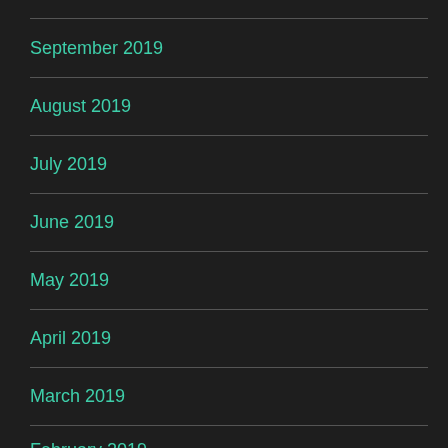September 2019
August 2019
July 2019
June 2019
May 2019
April 2019
March 2019
February 2019